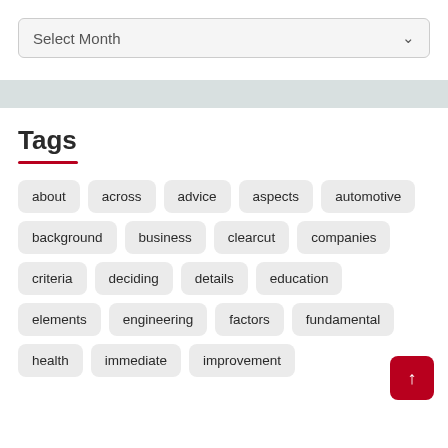Select Month
Tags
about
across
advice
aspects
automotive
background
business
clearcut
companies
criteria
deciding
details
education
elements
engineering
factors
fundamental
health
immediate
improvement